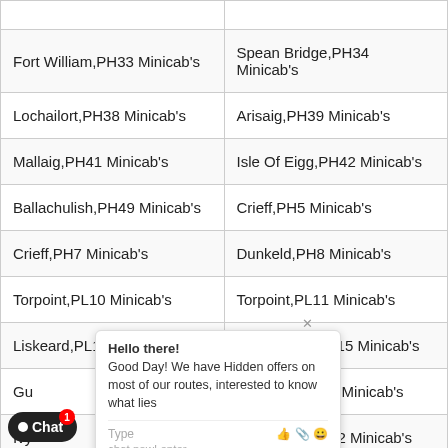| Fort William,PH33 Minicab's | Spean Bridge,PH34 Minicab's |
| Lochailort,PH38 Minicab's | Arisaig,PH39 Minicab's |
| Mallaig,PH41 Minicab's | Isle Of Eigg,PH42 Minicab's |
| Ballachulish,PH49 Minicab's | Crieff,PH5 Minicab's |
| Crieff,PH7 Minicab's | Dunkeld,PH8 Minicab's |
| Torpoint,PL10 Minicab's | Torpoint,PL11 Minicab's |
| Liskeard,PL14 Minicab's | Launceston,PL15 Minicab's |
| Gu... Minicab's | Tavistock,PL19 Minicab's |
| Ivy... Minicab's | Lostwithiel,PL22 Minicab's |
| Sa... Minicab's | Saint Austell,PL26 Minicab's |
| Po... Minicab's | Plymouth,PL3 Minicab's |
| ...rd,PL32 Minicab's | Delabole,PL33 Minicab's |